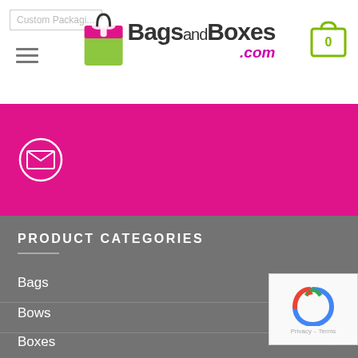[Figure (logo): BagsandBoxes.com logo with shopping bag icon]
[Figure (illustration): Pink/magenta email subscription banner with envelope icon in circle]
PRODUCT CATEGORIES
Bags
Bows
Boxes
Gift Basket Packaging